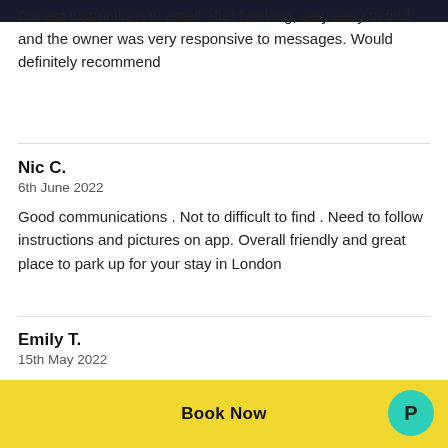Perfect instructions in email after booking, very easy to find and the owner was very responsive to messages. Would definitely recommend
Nic C.
6th June 2022
Good communications . Not to difficult to find . Need to follow instructions and pictures on app. Overall friendly and great place to park up for your stay in London
Emily T.
15th May 2022
Parking space wasn't easy to find in the beginning, as well as parking spot (numbering was very faint on the wall for the
Book Now